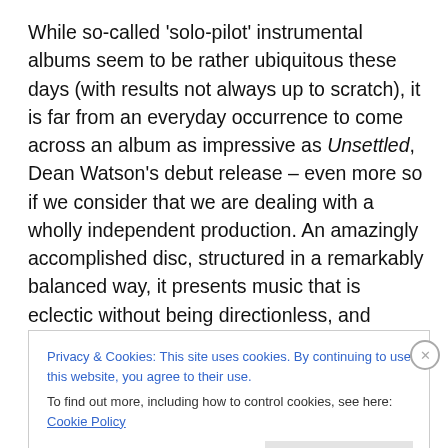While so-called 'solo-pilot' instrumental albums seem to be rather ubiquitous these days (with results not always up to scratch), it is far from an everyday occurrence to come across an album as impressive as Unsettled, Dean Watson's debut release – even more so if we consider that we are dealing with a wholly independent production. An amazingly accomplished disc, structured in a remarkably balanced way, it presents music that is eclectic without being directionless, and complex without being unnecessarily convoluted.
Privacy & Cookies: This site uses cookies. By continuing to use this website, you agree to their use.
To find out more, including how to control cookies, see here: Cookie Policy